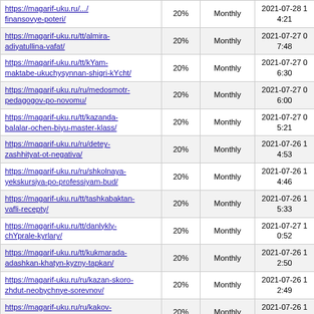| https://magarif-uku.ru/...finansovye-poteri/ | 20% | Monthly | 2021-07-28 14:21 |
| https://magarif-uku.ru/tt/almira-adiyatullina-vafat/ | 20% | Monthly | 2021-07-27 07:48 |
| https://magarif-uku.ru/tt/kYam-maktabe-ukuchysynnan-shigri-kYcht/ | 20% | Monthly | 2021-07-27 06:30 |
| https://magarif-uku.ru/ru/medosmotr-pedagogov-po-novomu/ | 20% | Monthly | 2021-07-27 06:00 |
| https://magarif-uku.ru/tt/kazanda-balalar-ochen-biyu-master-klass/ | 20% | Monthly | 2021-07-27 05:21 |
| https://magarif-uku.ru/ru/detey-zashhityat-ot-negativa/ | 20% | Monthly | 2021-07-26 14:53 |
| https://magarif-uku.ru/ru/shkolnaya-yekskursiya-po-professiyam-bud/ | 20% | Monthly | 2021-07-26 14:46 |
| https://magarif-uku.ru/tt/tashkabaktan-vafli-recepty/ | 20% | Monthly | 2021-07-26 15:33 |
| https://magarif-uku.ru/tt/danlykly-chYprale-kyrlary/ | 20% | Monthly | 2021-07-27 10:52 |
| https://magarif-uku.ru/tt/kukmarada-adashkan-khatyn-kyzny-tapkan/ | 20% | Monthly | 2021-07-26 12:50 |
| https://magarif-uku.ru/ru/kazan-skoro-zhdut-neobychnye-sorevnov/ | 20% | Monthly | 2021-07-26 12:49 |
| https://magarif-uku.ru/ru/kakey-sredniy-ball-gyve-u-odinnadcatik/ | 20% | Monthly | 2021-07-26 12:41 |
| https://magarif-uku.ru/tt/pasportka-millat-grafasyn-kaytary/ | 20% | Monthly | 2021-07-26 12:37 |
| https://magarif-uku.ru/ru/v-shkolu-po-pasportu/ | 20% | Monthly | 2021-07-26 12:27 |
| https://magarif-uku.ru/ru/1-400-predlozheniy-po-uluchsheniyu-sistemy-ob/ | 20% | Monthly | 2021-07-26 12:13 |
| https://magarif-uku.ru/ru/startuet-yekologicheskaya-akciya-budet/ | 20% | Monthly | 2021-07-26 11:48 |